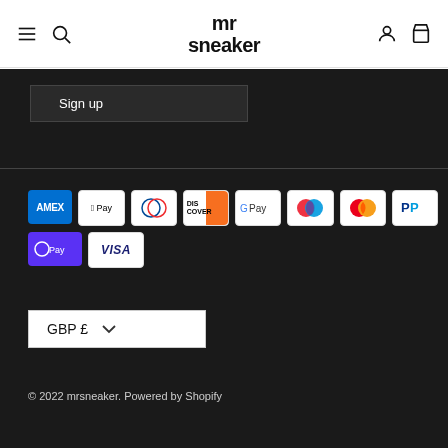mr sneaker
Sign up
[Figure (infographic): Payment method icons: Amex, Apple Pay, Diners Club, Discover, Google Pay, Maestro, Mastercard, PayPal, Apple Pay (O Pay), Visa]
GBP £
© 2022 mrsneaker. Powered by Shopify